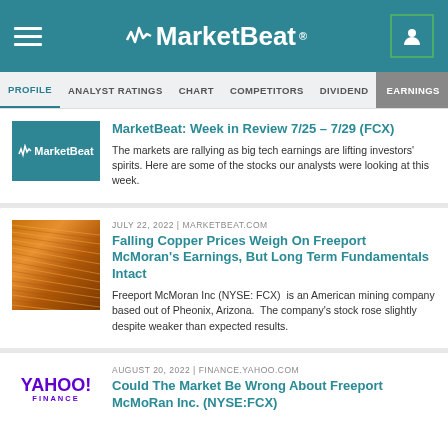MarketBeat
PROFILE | ANALYST RATINGS | CHART | COMPETITORS | DIVIDEND | EARNINGS
MarketBeat: Week in Review 7/25 – 7/29 (FCX)
The markets are rallying as big tech earnings are lifting investors' spirits. Here are some of the stocks our analysts were looking at this week.
JULY 22, 2022 | MARKETBEAT.COM
Falling Copper Prices Weigh On Freeport McMoran's Earnings, But Long Term Fundamentals Intact
Freeport McMoran Inc (NYSE: FCX)  is an American mining company based out of Pheonix, Arizona.  The company's stock rose slightly despite weaker than expected results.
AUGUST 20, 2022 | FINANCE.YAHOO.COM
Could The Market Be Wrong About Freeport McMoRan Inc. (NYSE:FCX)